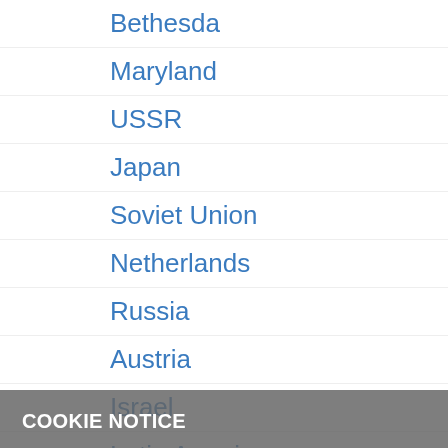Bethesda
Maryland
USSR
Japan
Soviet Union
Netherlands
Russia
Austria
Israel
Latin America
Mexico
COOKIE NOTICE
We use cookies on this site to enhance your experience and improve our library services. By continuing to browse without changing your browser settings to block or delete cookies, you agree to the storing of cookies and related technologies on your device. UW–Madison Privacy Notice